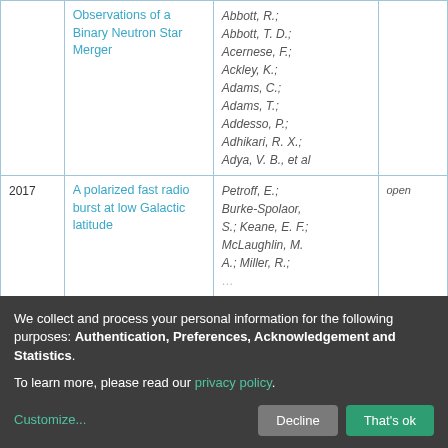| Year | Title | Authors | Access |
| --- | --- | --- | --- |
|  | Observations of a Binary Neutron Star Merger | Abbott, R.; Abbott, T. D.; Acernese, F.; Ackley, K.; Adams, C.; Adams, T.; Addesso, P.; Adhikari, R. X.; Adya, V. B., et al |  |
| 2017 | A polarized fast radio burst at low Galactic latitude | Petroff, E.; Burke-Spolaor, S.; Keane, E. F.; McLaughlin, M. A.; Miller, R.; ... | open |
We collect and process your personal information for the following purposes: Authentication, Preferences, Acknowledgement and Statistics. To learn more, please read our privacy policy.